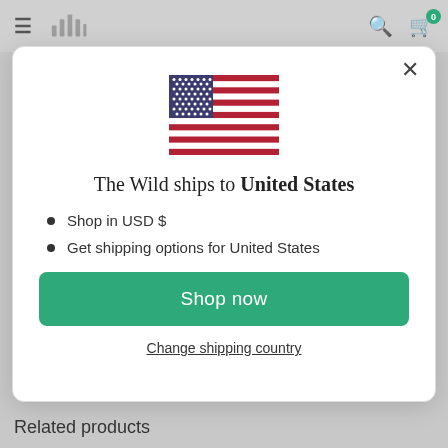The Wild — navigation bar with hamburger menu, logo, search, and cart (0 items)
[Figure (screenshot): US flag emoji / illustration showing the American flag with blue canton of white stars and red/white stripes]
The Wild ships to United States
Shop in USD $
Get shipping options for United States
Shop now
Change shipping country
Related products